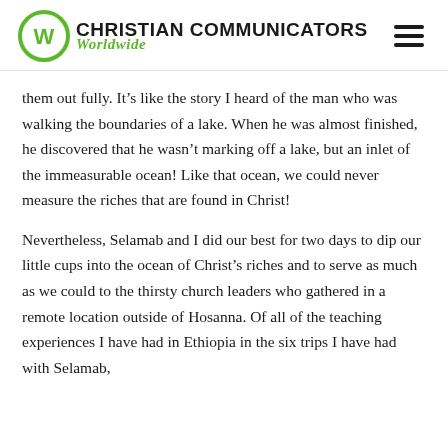Christian Communicators Worldwide
them out fully. It’s like the story I heard of the man who was walking the boundaries of a lake. When he was almost finished, he discovered that he wasn’t marking off a lake, but an inlet of the immeasurable ocean! Like that ocean, we could never measure the riches that are found in Christ!
Nevertheless, Selamab and I did our best for two days to dip our little cups into the ocean of Christ’s riches and to serve as much as we could to the thirsty church leaders who gathered in a remote location outside of Hosanna. Of all of the teaching experiences I have had in Ethiopia in the six trips I have had with Selamab,